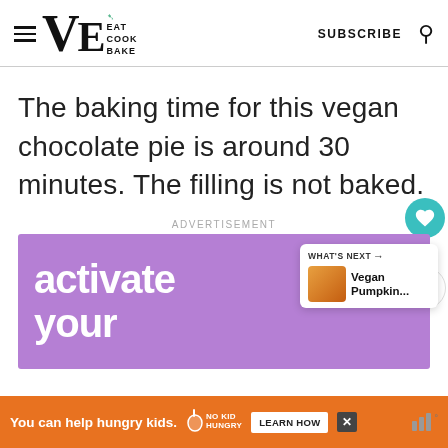VE EAT COOK BAKE | SUBSCRIBE
The baking time for this vegan chocolate pie is around 30 minutes. The filling is not baked.
ADVERTISEMENT
[Figure (screenshot): Purple advertisement banner showing 'activate your' in bold white text, with a 'What's Next' card overlay showing 'Vegan Pumpkin...']
You can help hungry kids.
[Figure (logo): No Kid Hungry logo with fork icon]
LEARN HOW